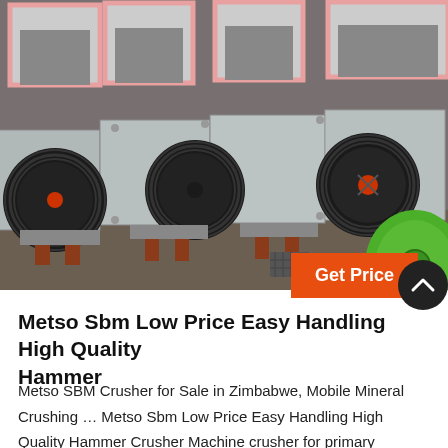[Figure (photo): Multiple grey hammer crusher machines lined up in a factory/warehouse setting, with large black belt pulleys and pink-rimmed feed hoppers on top. A green machine is partially visible in the bottom right corner.]
Metso Sbm Low Price Easy Handling High Quality Hammer
Metso SBM Crusher for Sale in Zimbabwe, Mobile Mineral Crushing … Metso Sbm Low Price Easy Handling High Quality Hammer Crusher Machine crusher for primary crushing, impact crusher or cone crusher for fine crushing,